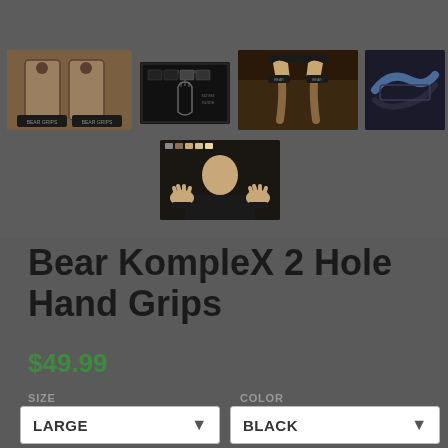[Figure (photo): Product thumbnail images: Bear KompleX 2 Hole Hand Grips shown from multiple angles including pair of grips, hand sign info card, athlete doing pull-ups, strap detail, and person showing grips on both hands]
Bear KompleX 2 Hole Hand Grips
$49.99
SIZE
LARGE
COLOR
BLACK